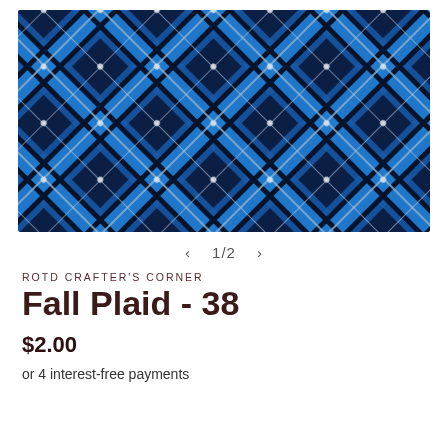[Figure (illustration): Blue and black plaid/tartan fabric pattern with diagonal stripes in shades of blue, black, and grey with white accent lines and white dots at intersections.]
< 1/2 >
ROTD CRAFTER'S CORNER
Fall Plaid - 38
$2.00
or 4 interest-free payments